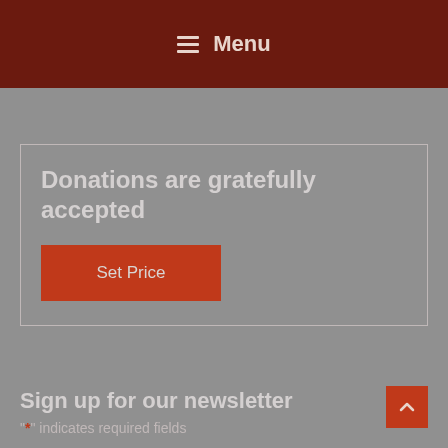Menu
Donations are gratefully accepted
Set Price
Sign up for our newsletter
"*" indicates required fields